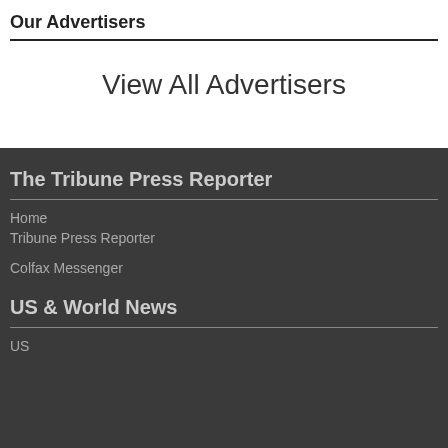Our Advertisers
View All Advertisers
The Tribune Press Reporter
Home
Tribune Press Reporter
Colfax Messenger
US & World News
US